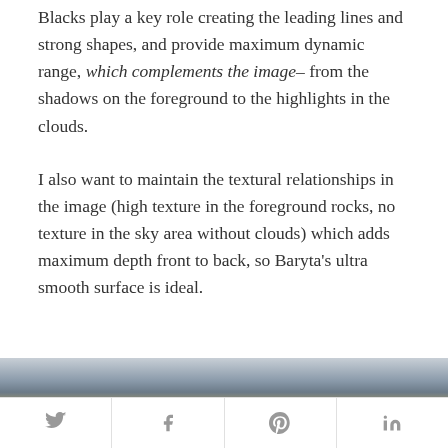Blacks play a key role creating the leading lines and strong shapes, and provide maximum dynamic range, which complements the image– from the shadows on the foreground to the highlights in the clouds.
I also want to maintain the textural relationships in the image (high texture in the foreground rocks, no texture in the sky area without clouds) which adds maximum depth front to back, so Baryta's ultra smooth surface is ideal.
[Figure (photo): Partial landscape photo showing a dark horizon with sky, partially cropped at the bottom of the page]
Social share bar with Twitter, Facebook, Pinterest, LinkedIn icons